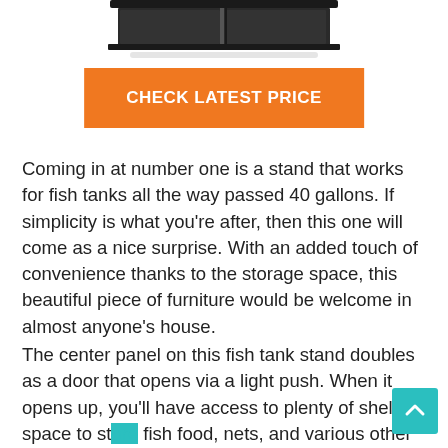[Figure (photo): Partial view of a dark-colored fish tank stand product image at the top of the page]
CHECK LATEST PRICE
Coming in at number one is a stand that works for fish tanks all the way passed 40 gallons. If simplicity is what you're after, then this one will come as a nice surprise. With an added touch of convenience thanks to the storage space, this beautiful piece of furniture would be welcome in almost anyone's house.
The center panel on this fish tank stand doubles as a door that opens via a light push. When it opens up, you'll have access to plenty of shelf space to store fish food, nets, and various other items. You can